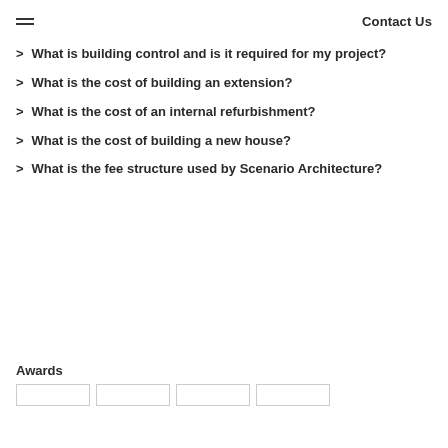Contact Us
What is building control and is it required for my project?
What is the cost of building an extension?
What is the cost of an internal refurbishment?
What is the cost of building a new house?
What is the fee structure used by Scenario Architecture?
Awards